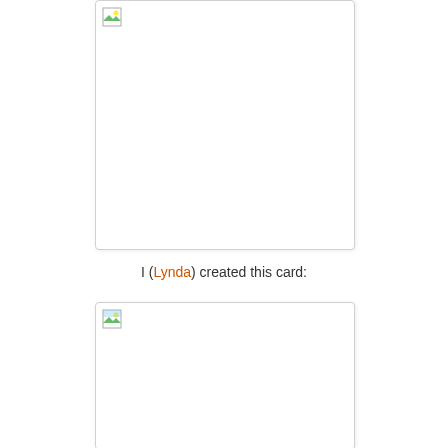[Figure (other): A card image placeholder with broken image icon in top-left corner, white background with light border]
I (Lynda) created this card:
[Figure (other): A second card image placeholder with broken image icon in top-left corner, white background with light border]